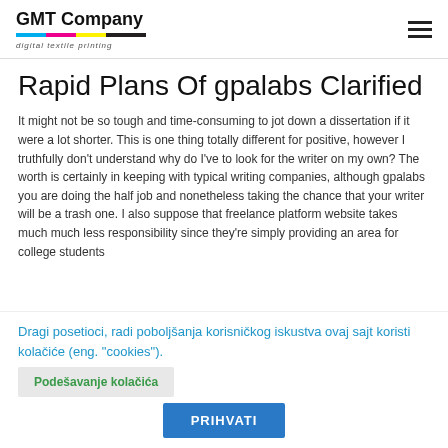GMT Company — digital textile printing
Rapid Plans Of gpalabs Clarified
It might not be so tough and time-consuming to jot down a dissertation if it were a lot shorter. This is one thing totally different for positive, however I truthfully don't understand why do I've to look for the writer on my own? The worth is certainly in keeping with typical writing companies, although gpalabs you are doing the half job and nonetheless taking the chance that your writer will be a trash one. I also suppose that freelance platform website takes much much less responsibility since they're simply providing an area for college students
Dragi posetioci, radi poboljšanja korisničkog iskustva ovaj sajt koristi kolačiće (eng. "cookies").
Podešavanje kolačića
PRIHVATI